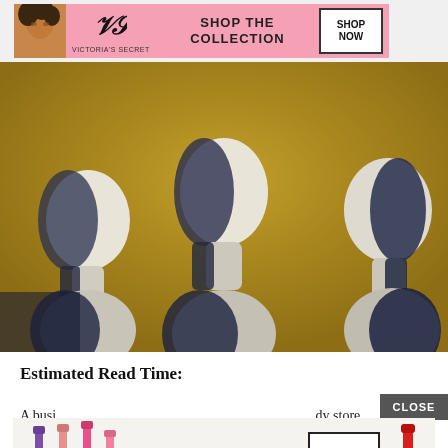[Figure (photo): Victoria's Secret advertisement banner with model, VS logo, 'SHOP THE COLLECTION' text and 'SHOP NOW' button on pink background]
[Figure (photo): Main article image showing three mannequin heads in dark blue/navy against a golden textured background]
Estimated Read Time:
[Figure (screenshot): CLOSE button overlay]
A busi... dy store. ...m.
[Figure (photo): MAC cosmetics advertisement with colorful lipsticks, MAC logo, 'SHOP NOW' button, and red lipstick on right]